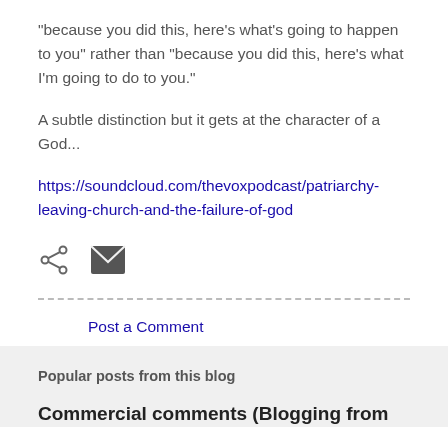"because you did this, here's what's going to happen to you" rather than "because you did this, here's what I'm going to do to you."
A subtle distinction but it gets at the character of a God...
https://soundcloud.com/thevoxpodcast/patriarchy-leaving-church-and-the-failure-of-god
[Figure (other): Share icon and email/envelope icon]
Post a Comment
Popular posts from this blog
Commercial comments (Blogging from